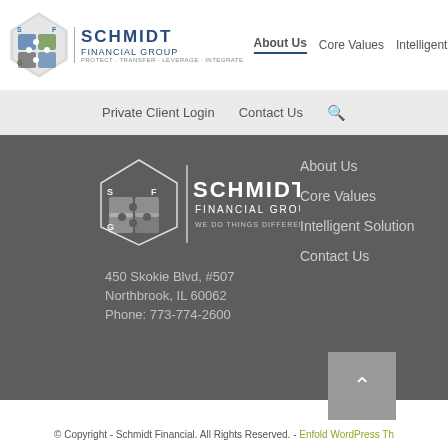About Us | Core Values | Intelligent Solutions — Schmidt Financial Group navigation header
[Figure (logo): Schmidt Financial Group logo with puzzle-piece diamond icon and text SCHMIDT FINANCIAL GROUP PROTECT · TRANSFER · LEVERAGE · INTEGRATE]
Private Client Login  Contact Us  🔍
[Figure (logo): Schmidt Financial Group footer logo — white version with WE DO THINGS DIFFERENTLY tagline]
450 Skokie Blvd, #507
Northbrook, IL 60062
Phone: 773-774-2600
About Us
Core Values
Intelligent Solutions
Contact Us
© Copyright - Schmidt Financial. All Rights Reserved. - Enfold WordPress Th